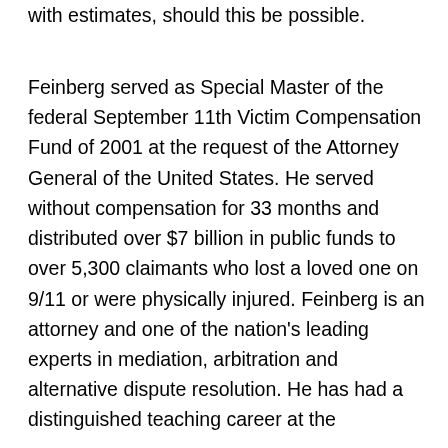with estimates, should this be possible.
Feinberg served as Special Master of the federal September 11th Victim Compensation Fund of 2001 at the request of the Attorney General of the United States. He served without compensation for 33 months and distributed over $7 billion in public funds to over 5,300 claimants who lost a loved one on 9/11 or were physically injured. Feinberg is an attorney and one of the nation's leading experts in mediation, arbitration and alternative dispute resolution. He has had a distinguished teaching career at the